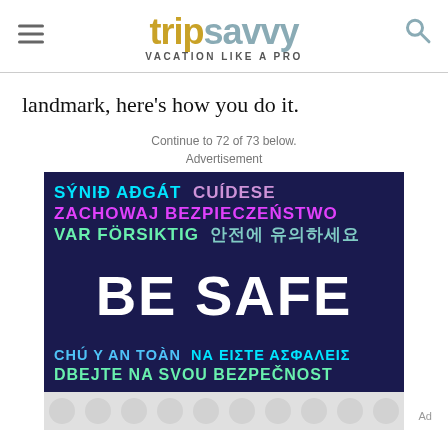tripsavvy VACATION LIKE A PRO
landmark, here's how you do it.
Continue to 72 of 73 below.
Advertisement
[Figure (illustration): BE SAFE multilingual safety advertisement with dark navy background, featuring text in multiple languages: SÝNIĐ AÐGÁT (cyan), CUÍDESE (purple), ZACHOWAJ BEZPIECZEŃSTWO (pink/magenta), VAR FÖRSIKTIG (green), Korean text (teal), BE SAFE (large white), CHÚ Ý AN TOÀN (blue), NA EIΣTE AΣΦAΛEIΣ (cyan), DBEJTE NA SVOU BEZPEČNOST (green), with gray circular pattern at bottom.]